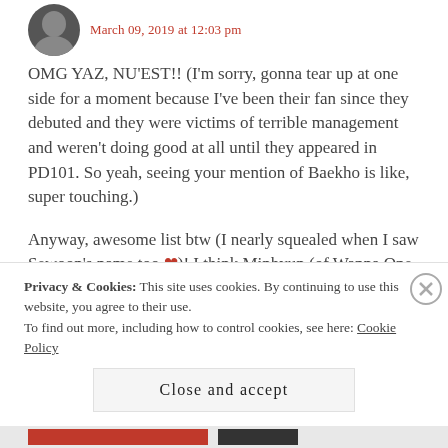[Figure (photo): Circular avatar photo of a person, partially visible at top left]
OMG YAZ, NU'EST!! (I'm sorry, gonna tear up at one side for a moment because I've been their fan since they debuted and they were victims of terrible management and weren't doing good at all until they appeared in PD101. So yeah, seeing your mention of Baekho is like, super touching.)
Anyway, awesome list btw (I nearly squealed when I saw Sewoon's name too ❤)! I think Minhyun (of Wanna One and Nu'est), Ha Sungwoon (of Hotshot and Wanna One), and Kim Jaehwan (Wanna One) have pretty good vocals too. Jungkook's (BTS) vocals are beautiful as well and Jin's has
Privacy & Cookies: This site uses cookies. By continuing to use this website, you agree to their use.
To find out more, including how to control cookies, see here: Cookie Policy
Close and accept